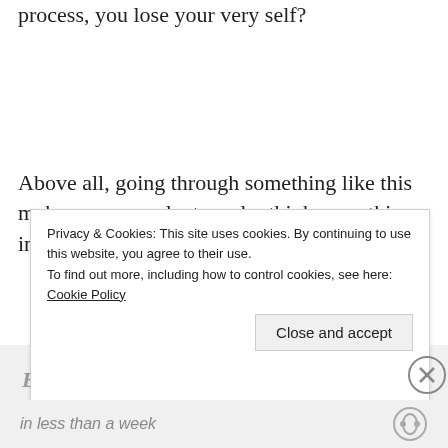process, you lose your very self?
Above all, going through something like this makes you reevaluate and rethink everything, including what you think about God.
Believe in God or not, being faced with the very real prospect of meeting your
Privacy & Cookies: This site uses cookies. By continuing to use this website, you agree to their use.
To find out more, including how to control cookies, see here: Cookie Policy
Close and accept
in less than a week